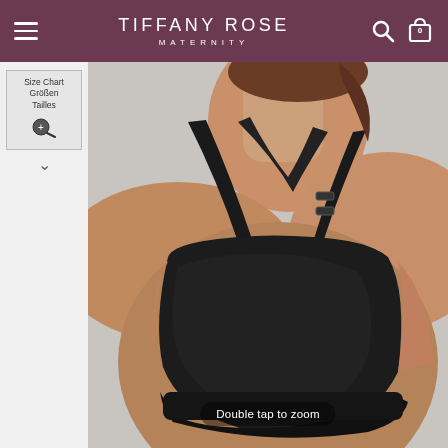TIFFANY ROSE MATERNITY
[Figure (photo): White sidebar thumbnail showing a size chart button labeled 'Size Chart Größen Tailles' with a magnifying glass/zoom icon, followed by a downward chevron arrow]
[Figure (photo): Close-up product photo of a woman wearing a black maternity/nursing sports bra with clip-down straps and racer back design. The bra is black with a wide underband. A 'Double tap to zoom' overlay appears at the bottom of the image.]
Double tap to zoom